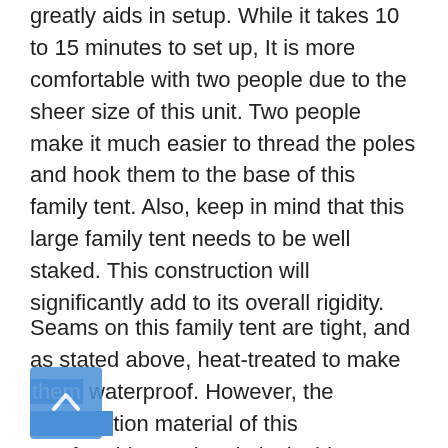greatly aids in setup. While it takes 10 to 15 minutes to set up, It is more comfortable with two people due to the sheer size of this unit. Two people make it much easier to thread the poles and hook them to the base of this family tent. Also, keep in mind that this large family tent needs to be well staked. This construction will significantly add to its overall rigidity.
Seams on this family tent are tight, and as stated above, heat-treated to make them waterproof. However, the construction material of this comfortable tent is relatively thin. However, there is a double layer of material on top for heat resistance during the day. This it...